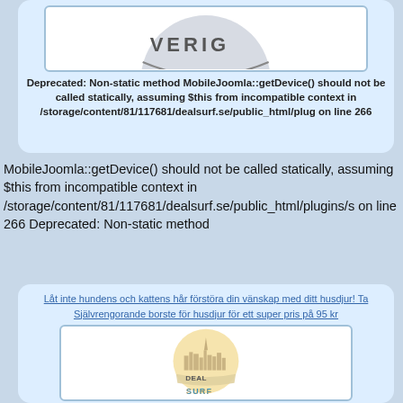[Figure (logo): Partial logo image at top of first card, showing letters 'VERIG' in a circular badge style]
Deprecated: Non-static method MobileJoomla::getDevice() should not be called statically, assuming $this from incompatible context in /storage/content/81/117681/dealsurf.se/public_html/plug on line 266
MobileJoomla::getDevice() should not be called statically, assuming $this from incompatible context in /storage/content/81/117681/dealsurf.se/public_html/plugins/s on line 266 Deprecated: Non-static method
Låt inte hundens och kattens hår förstöra din vänskap med ditt husdjur! Ta Självrengorande borste för husdjur för ett super pris på 95 kr
[Figure (logo): DealSurf logo — circular badge with city skyline silhouette in tan/beige, text DEALSURF below in blue and orange]